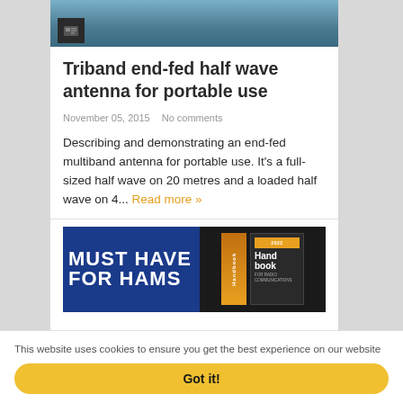[Figure (photo): Top partial photo showing a person with blue background, with a small newspaper/article icon overlay in the lower left]
Triband end-fed half wave antenna for portable use
November 05, 2015   No comments
Describing and demonstrating an end-fed multiband antenna for portable use. It’s a full-sized half wave on 20 metres and a loaded half wave on 4... Read more »
[Figure (photo): Partial image showing 'MUST HAVE FOR HAMS' text on blue background with a Ham Radio Handbook book cover on the right]
This website uses cookies to ensure you get the best experience on our website
Got it!